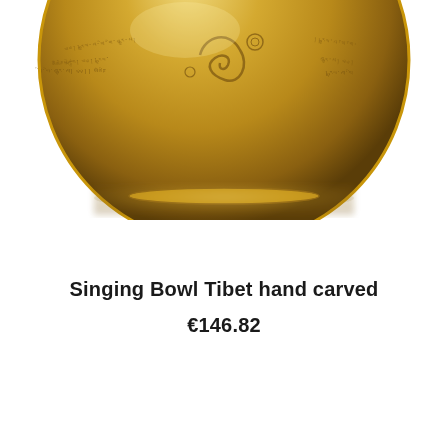[Figure (photo): Close-up bottom half of a golden brass Tibetan singing bowl with engraved script and decorative patterns, photographed on white background]
Singing Bowl Tibet hand carved
€146.82